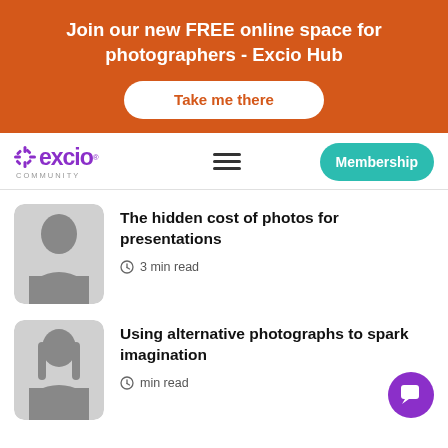Join our new FREE online space for photographers - Excio Hub
Take me there
[Figure (logo): Excio Community logo with purple snowflake icon and purple text]
Membership
[Figure (photo): Black and white photo of a woman in dark clothing, portrait style]
The hidden cost of photos for presentations
3 min read
[Figure (photo): Black and white photo of a smiling woman with long hair]
Using alternative photographs to spark imagination
min read